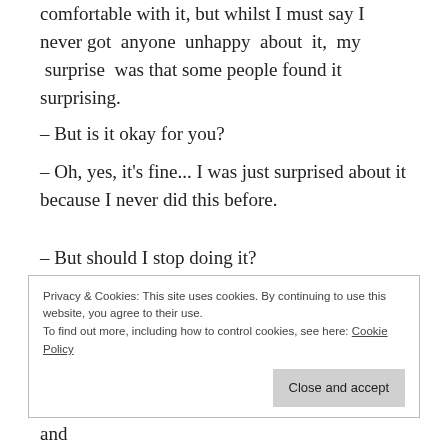comfortable with it, but whilst I must say I never got anyone unhappy about it, my surprise was that some people found it surprising.
– But is it okay for you?
– Oh, yes, it's fine... I was just surprised about it because I never did this before.
– But should I stop doing it?
– Please, don't!
So I do use touch in my sessions.
Privacy & Cookies: This site uses cookies. By continuing to use this website, you agree to their use.
To find out more, including how to control cookies, see here: Cookie Policy
England. I left UK in 2004 to teach in Madrid, and